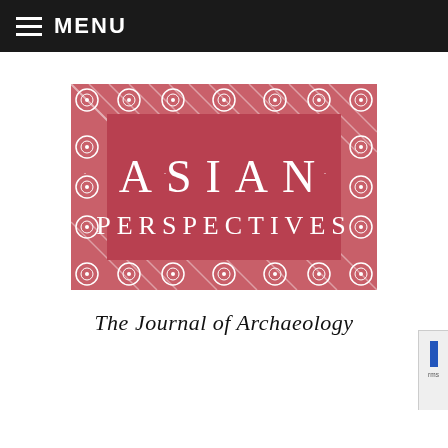MENU
[Figure (logo): Asian Perspectives journal logo — red rectangular background with decorative rope/circle border, white text reading 'ASIAN PERSPECTIVES']
The Journal of Archaeology